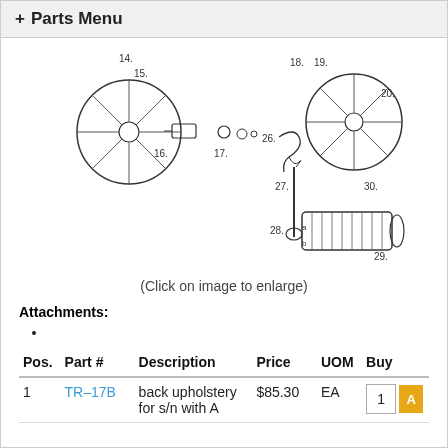+ Parts Menu
[Figure (engineering-diagram): Technical line drawing of wheelchair or mobility device parts, showing numbered components including wheels, axles, footrests, and hardware. Part numbers visible: 14, 15, 16, 17, 18, 19, 20, 26, 27, 28a, 28b, 29, 30.]
(Click on image to enlarge)
Attachments:
| Pos. | Part # | Description | Price | UOM | Buy |
| --- | --- | --- | --- | --- | --- |
| 1 | TR-17B | back upholstery for s/n with A | $85.30 | EA | 1 |